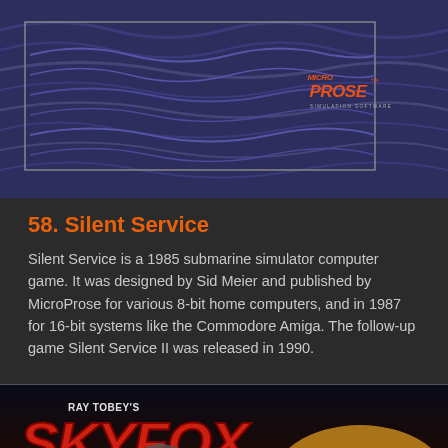[Figure (photo): MicroProse game box art — dark blue wavy/rippled background with a rectangular framed area and the MicroProse logo in orange on the right side]
58. Silent Service
Silent Service is a 1985 submarine simulator computer game. It was designed by Sid Meier and published by MicroProse for various 8-bit home computers, and in 1987 for 16-bit systems like the Commodore Amiga. The follow-up game Silent Service II was released in 1990.
[Figure (photo): Ray Tobey's Skyfox game box art — colorful action artwork showing fighter jet over a grid-like landscape with explosions and the large stylized SKYFOX title text]